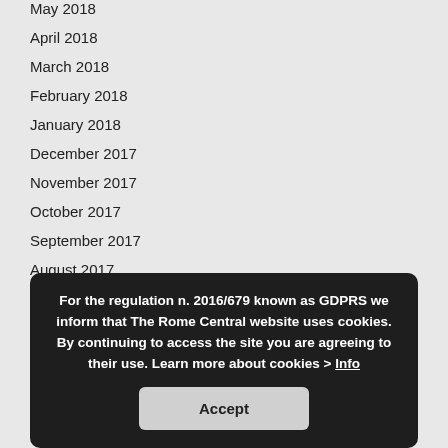May 2018
April 2018
March 2018
February 2018
January 2018
December 2017
November 2017
October 2017
September 2017
August 2017
July 2017
May 2017
April 2017
March 2017
February 2017
For the regulation n. 2016/679 known as GDPRS we inform that The Rome Central website uses cookies. By continuing to access the site you are agreeing to their use. Learn more about cookies > Info